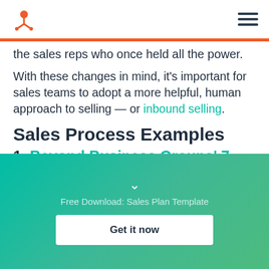HubSpot logo and hamburger menu
the sales reps who once held all the power.
With these changes in mind, it's important for sales teams to adopt a more helpful, human approach to selling — or inbound selling.
Sales Process Examples
1. Beyond Business Groups' 7-Step
[Figure (other): Teal/green gradient CTA banner with chevron down icon, 'Free Download: Sales Plan Template' label, and 'Get it now' white button]